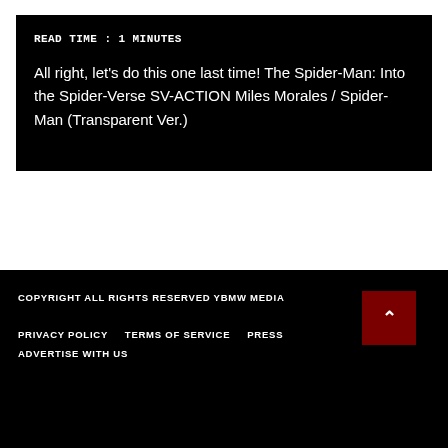READ TIME : 1 MINUTES
All right, let's do this one last time! The Spider-Man: Into the Spider-Verse SV-ACTION Miles Morales / Spider-Man (Transparent Ver.)
COPYRIGHT ALL RIGHTS RESERVED YBMW MEDIA
PRIVACY POLICY    TERMS OF SERVICE    PRESS    ADVERTISE WITH US